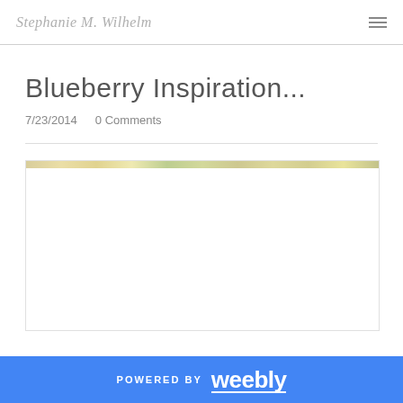Stephanie M. Wilhelm
Blueberry Inspiration...
7/23/2014   0 Comments
[Figure (photo): Large image placeholder area, mostly white with a thin decorative strip at the top showing blurred outdoor/nature colors in yellows and greens]
POWERED BY weebly